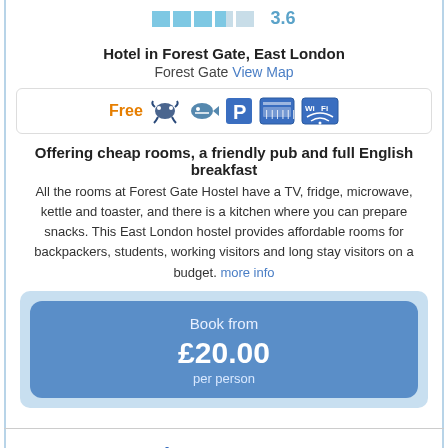[Figure (other): Star rating bar showing 3.6 rating with blue blocks and number 3.6]
Hotel in Forest Gate, East London
Forest Gate View Map
[Figure (infographic): Amenities icons: Free, fishing/swimming icons, Parking P, key/fob icon, WiFi icon]
Offering cheap rooms, a friendly pub and full English breakfast
All the rooms at Forest Gate Hostel have a TV, fridge, microwave, kettle and toaster, and there is a kitchen where you can prepare snacks. This East London hostel provides affordable rooms for backpackers, students, working visitors and long stay visitors on a budget. more info
Book from £20.00 per person
Osborne Cottage
[Figure (photo): Two photos of Osborne Cottage: exterior with blue door, interior bedroom]